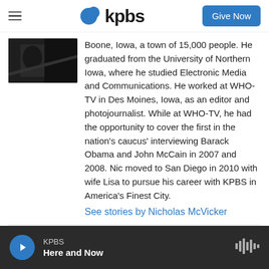kpbs — Give Now
[Figure (photo): Photo of Nicholas McVicker, partially visible dark image]
Boone, Iowa, a town of 15,000 people. He graduated from the University of Northern Iowa, where he studied Electronic Media and Communications. He worked at WHO-TV in Des Moines, Iowa, as an editor and photojournalist. While at WHO-TV, he had the opportunity to cover the first in the nation's caucus' interviewing Barack Obama and John McCain in 2007 and 2008. Nic moved to San Diego in 2010 with wife Lisa to pursue his career with KPBS in America's Finest City.
See stories by Nicholas McVicker
KPBS — Here and Now